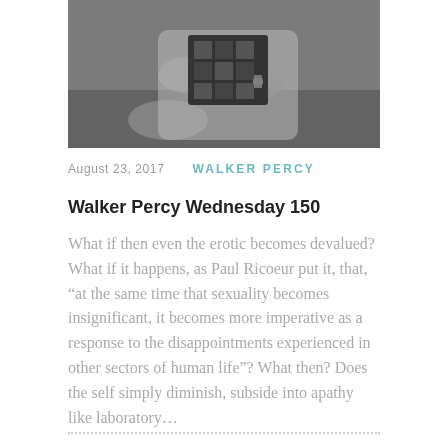[Figure (photo): Black and white photograph of a man holding a framed grid of portrait photographs, outdoors on grass]
August 23, 2017   WALKER PERCY
Walker Percy Wednesday 150
What if then even the erotic becomes devalued? What if it happens, as Paul Ricoeur put it, that, “at the same time that sexuality becomes insignificant, it becomes more imperative as a response to the disappointments experienced in other sectors of human life”? What then? Does the self simply diminish, subside into apathy like laboratory…